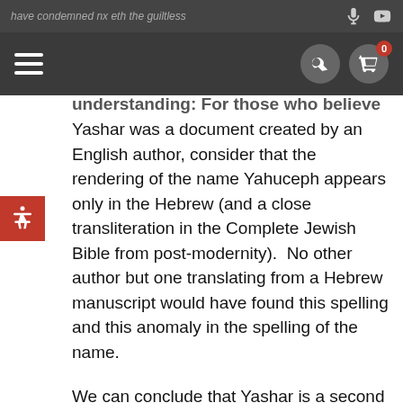have condemned nx eth the guiltless
[Figure (screenshot): Website navigation bar with hamburger menu, search button, and cart button with badge showing 0]
understanding: For those who believe that Yashar was a document created by an English author, consider that the rendering of the name Yahuceph appears only in the Hebrew (and a close transliteration in the Complete Jewish Bible from post-modernity).  No other author but one translating from a Hebrew manuscript would have found this spelling and this anomaly in the spelling of the name.
We can conclude that Yashar is a second witness to the writing of David in Tehilliym